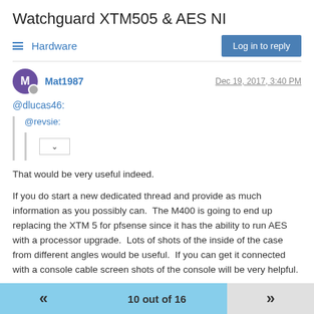Watchguard XTM505 & AES NI
Hardware | Log in to reply
Mat1987 — Dec 19, 2017, 3:40 PM
@dlucas46:
@revsie:
That would be very useful indeed.
If you do start a new dedicated thread and provide as much information as you possibly can.  The M400 is going to end up replacing the XTM 5 for pfsense since it has the ability to run AES with a processor upgrade.  Lots of shots of the inside of the case from different angles would be useful.  If you can get it connected with a console cable screen shots of the console will be very helpful.
10 out of 16